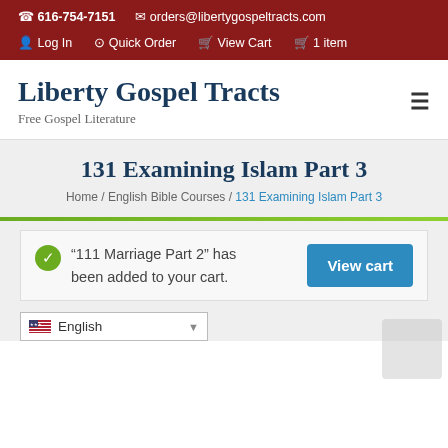☎ 616-754-7151   ✉ orders@libertygospeltracts.com   Log In   Quick Order   View Cart   1 item
Liberty Gospel Tracts
Free Gospel Literature
131 Examining Islam Part 3
Home / English Bible Courses / 131 Examining Islam Part 3
"111 Marriage Part 2" has been added to your cart.
View cart
English